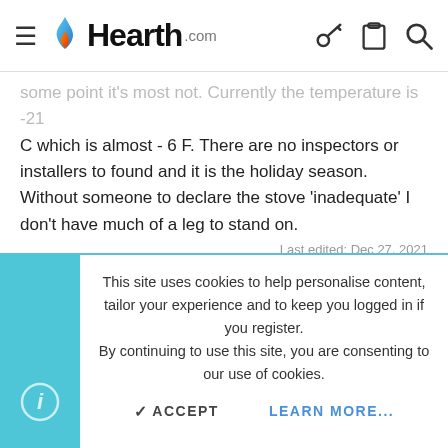[Figure (logo): Hearth.com logo with flame icon, hamburger menu, and header icons (key, clipboard, search)]
some point it's most not. Currently the temperature is -21 C which is almost - 6 F. There are no inspectors or installers to found and it is the holiday season. Without someone to declare the stove 'inadequate' I don't have much of a leg to stand on.
Last edited: Dec 27, 2021
clennox
This site uses cookies to help personalise content, tailor your experience and to keep you logged in if you register.
By continuing to use this site, you are consenting to our use of cookies.